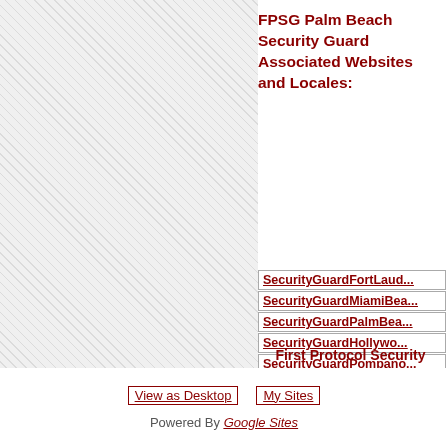[Figure (other): Left panel with diagonal hatched pattern background]
FPSG Palm Beach Security Guard Associated Websites and Locales:
SecurityGuardFortLaud...
SecurityGuardMiamiBea...
SecurityGuardPalmBea...
SecurityGuardHollywo...
SecurityGuardPompano...
SecurityGuardLakeWor...
SecurityGuardVeroBeac...
First Protocol Security Group of Palm Beach
View as Desktop   My Sites   Powered By Google Sites